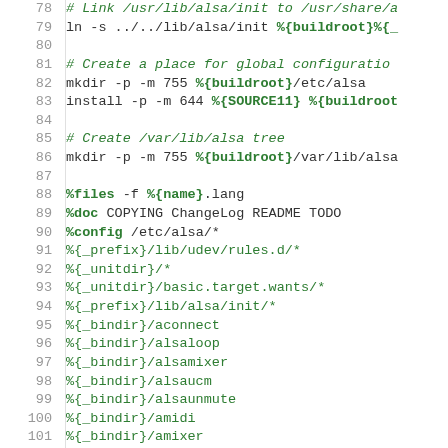[Figure (screenshot): Source code listing showing lines 78-102 of a Linux RPM spec file for alsa-utils, with line numbers on the left and code content on the right. Green italic text for comments, green bold for macros/variables, and black monospace for commands.]